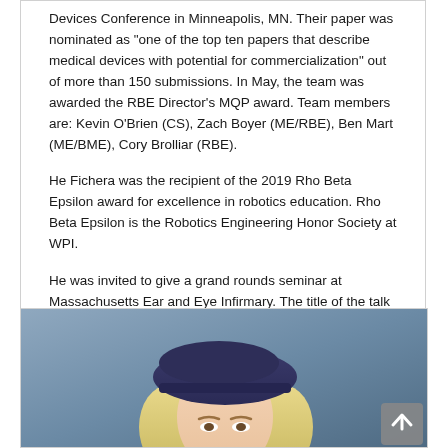Devices Conference in Minneapolis, MN. Their paper was nominated as 'one of the top ten papers that describe medical devices with potential for commercialization' out of more than 150 submissions. In May, the team was awarded the RBE Director's MQP award. Team members are: Kevin O'Brien (CS), Zach Boyer (ME/RBE), Ben Mart (ME/BME), Cory Brolliar (RBE).
He Fichera was the recipient of the 2019 Rho Beta Epsilon award for excellence in robotics education. Rho Beta Epsilon is the Robotics Engineering Honor Society at WPI.
He was invited to give a grand rounds seminar at Massachusetts Ear and Eye Infirmary. The title of the talk was 'Combining robotics and AI to enable advanced treatment modalities in the head and neck.'
[Figure (photo): Portrait photo of a person with blonde hair wearing a dark blue/navy beret, photographed against a blue-grey background. Only the upper portion of the face/head is visible as the image is cropped.]